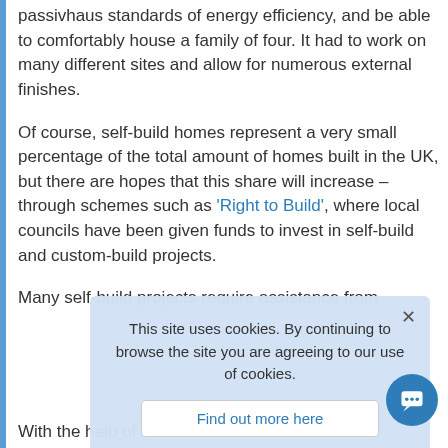passivhaus standards of energy efficiency, and be able to comfortably house a family of four. It had to work on many different sites and allow for numerous external finishes.
Of course, self-build homes represent a very small percentage of the total amount of homes built in the UK, but there are hopes that this share will increase – through schemes such as 'Right to Build', where local councils have been given funds to invest in self-build and custom-build projects.
Many self-build projects require assistance from
This site uses cookies. By continuing to browse the site you are agreeing to our use of cookies.
Find out more here
With the help of